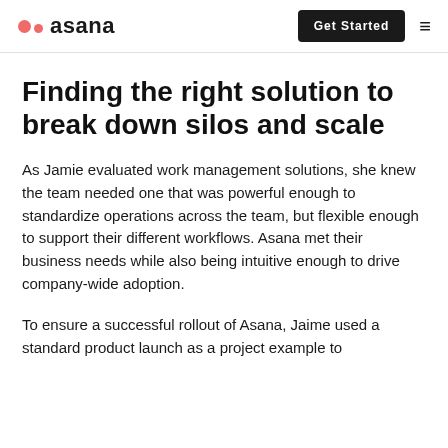asana | Get Started
Finding the right solution to break down silos and scale
As Jamie evaluated work management solutions, she knew the team needed one that was powerful enough to standardize operations across the team, but flexible enough to support their different workflows. Asana met their business needs while also being intuitive enough to drive company-wide adoption.
To ensure a successful rollout of Asana, Jaime used a standard product launch as a project example to